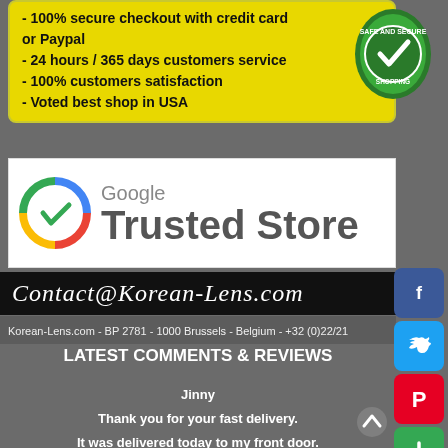- 100% secure checkout with credit card or Paypal
- 24 hours / 365 days customers service
- 100% customers satisfaction
- Voted best shop in USA
[Figure (logo): Safe and Secure Shopping badge - green shield with checkmark]
[Figure (logo): Google Trusted Store badge with colorful circular icon and text]
Contact@Korean-Lens.com
Korean-Lens.com - BP 2781 - 1000 Brussels - Belgium - +32 (0)22/21...
LATEST COMMENTS & REVIEWS
Jinny
Thank you for your fast delivery.
It was delivered today to my front door.
Pleasure to do business with you.